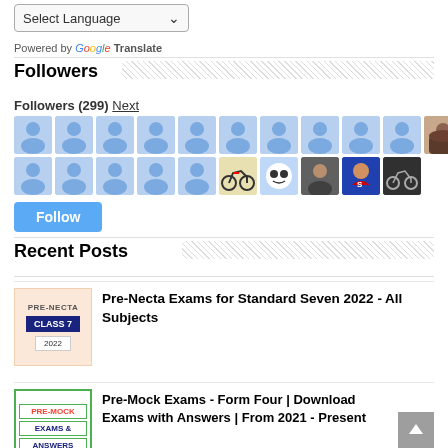[Figure (screenshot): Language selector dropdown showing 'Select Language' with a down arrow]
Powered by Google Translate
Followers
Followers (299) Next
[Figure (photo): Grid of follower avatars — 11 default blue person icons in row 1, and row 2 with 5 default blue icons plus 5 actual profile photos (motorcycle, DJ with mask, person, Superman, motorcycle)]
[Figure (other): Follow button (blue, rounded)]
Recent Posts
[Figure (other): Post thumbnail: PRE-NECTA CLASS 7 2022 label on peach background]
Pre-Necta Exams for Standard Seven 2022 - All Subjects
[Figure (other): Post thumbnail: PRE-MOCK EXAMS & ANSWERS label with green border]
Pre-Mock Exams - Form Four | Download Exams with Answers | From 2021 - Present